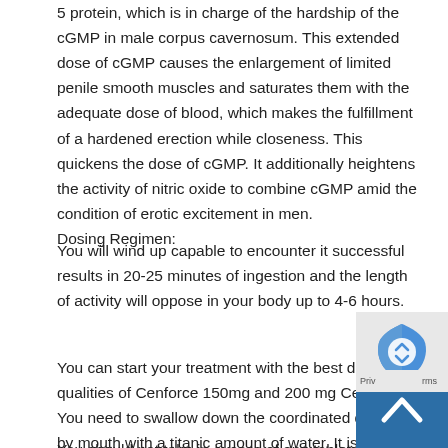5 protein, which is in charge of the hardship of the cGMP in male corpus cavernosum. This extended dose of cGMP causes the enlargement of limited penile smooth muscles and saturates them with the adequate dose of blood, which makes the fulfillment of a hardened erection while closeness. This quickens the dose of cGMP. It additionally heightens the activity of nitric oxide to combine cGMP amid the condition of erotic excitement in men. Dosing Regimen:
You will wind up capable to encounter it successful results in 20-25 minutes of ingestion and the length of activity will oppose in your body up to 4-6 hours.
You can start your treatment with the best dosage qualities of Cenforce 150mg and 200 mg Cenforce. You need to swallow down the coordinated dosage by mouth with a titanic amount of water. It is expected to be eaten up earlier an hour of the plausible erotic act with the partner.
You should not take in excess of one tablet of cenforce in
[Figure (other): reCAPTCHA verification widget with Google reCAPTCHA logo (blue and grey shield icon) and a dark blue back-to-top arrow button, with 'Priv' and 'rms' text visible at the bottom]